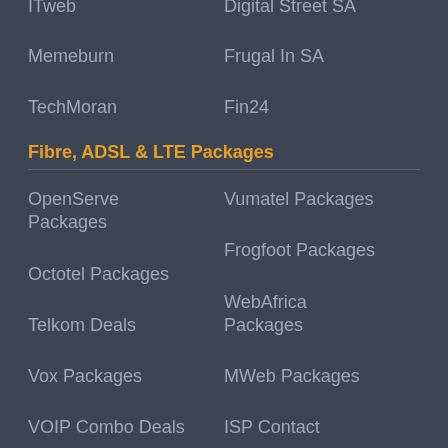ITweb
Digital Street SA
Memeburn
Frugal In SA
TechMoran
Fin24
Fibre, ADSL & LTE Packages
OpenServe Packages
Vumatel Packages
Octotel Packages
Frogfoot Packages
Telkom Deals
WebAfrica Packages
Vox Packages
MWeb Packages
VOIP Combo Deals
ISP Contact